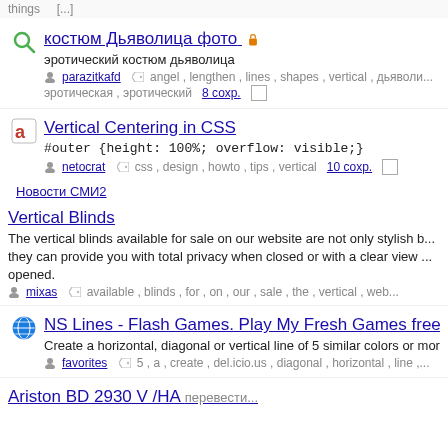things [cut off top]
костюм Дьяволица фото 🔒 — эротический костюм дьяволица — parazitkafd — angel, lengthen, lines, shapes, vertical, дьяволи... эротическая, эротический — 8 сохр.
Vertical Centering in CSS — #outer {height: 100%; overflow: visible;} — netocrat — css, design, howto, tips, vertical — 10 сохр.
Новости СМИ2
Vertical Blinds — The vertical blinds available for sale on our website are not only stylish b... they can provide you with total privacy when closed or with a clear view when opened. — mixas — available, blinds, for, on, our, sale, the, vertical, web...
NS Lines - Flash Games. Play My Fresh Games free o... — Create a horizontal, diagonal or vertical line of 5 similar colors or more to... — favorites — 5, a, create, del.icio.us, diagonal, horizontal, line,...
Ariston BD 2930 V /HA перевести...